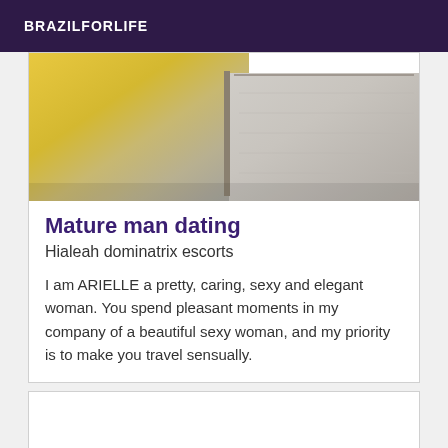BRAZILFORLIFE
[Figure (photo): Close-up photo of a yellow fabric and silver/metallic surface, possibly a bag or book]
Mature man dating
Hialeah dominatrix escorts
I am ARIELLE a pretty, caring, sexy and elegant woman. You spend pleasant moments in my company of a beautiful sexy woman, and my priority is to make you travel sensually.